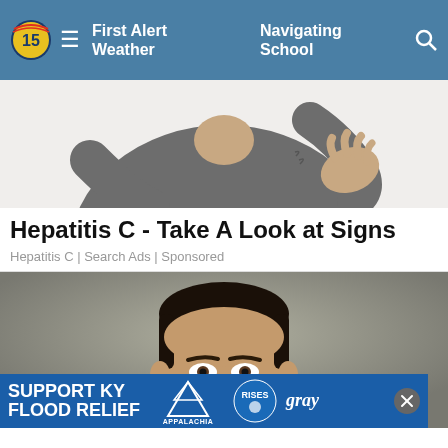First Alert Weather | Navigating School
[Figure (illustration): Cartoon illustration of a person in a grey shirt scratching their back with one hand — partial upper body view, cropped at top]
Hepatitis C - Take A Look at Signs
Hepatitis C | Search Ads | Sponsored
[Figure (photo): Mugshot-style photo of a middle-aged man with short dark hair, looking forward against a grey background, face shown from forehead to chin]
SUPPORT KY FLOOD RELIEF — Appalachia Rises — gray television